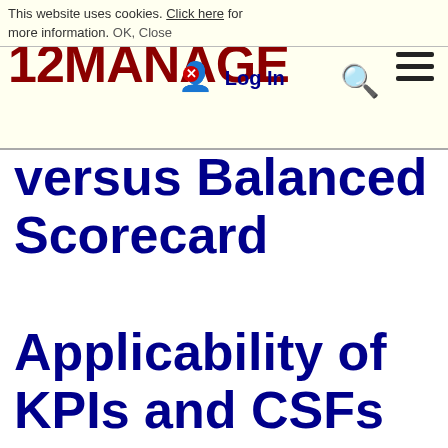This website uses cookies. Click here for more information. OK, Close
[Figure (logo): 12MANAGE logo in dark red bold text with hamburger menu icon on right]
versus Balanced Log In Scorecard Applicability of KPIs and CSFs in Small Organizations